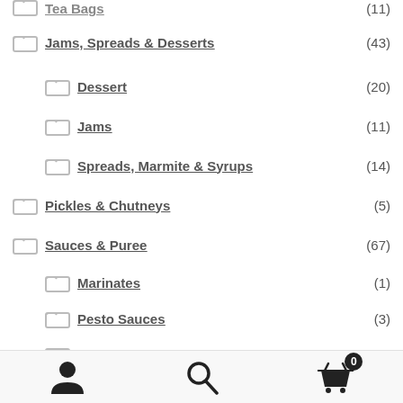Tea Bags (11)
Jams, Spreads & Desserts (43)
Dessert (20)
Jams (11)
Spreads, Marmite & Syrups (14)
Pickles & Chutneys (5)
Sauces & Puree (67)
Marinates (1)
Pesto Sauces (3)
Purees & Pastes (2)
Sauces Cooking (14)
Sauces Pasta (5)
User | Search | Cart (0)